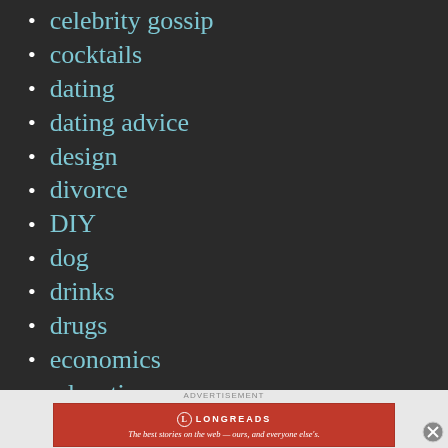celebrity gossip
cocktails
dating
dating advice
design
divorce
DIY
dog
drinks
drugs
economics
education
entertainment
[Figure (other): Longreads advertisement banner: 'The best stories on the web — ours, and everyone else's.' with Longreads logo]